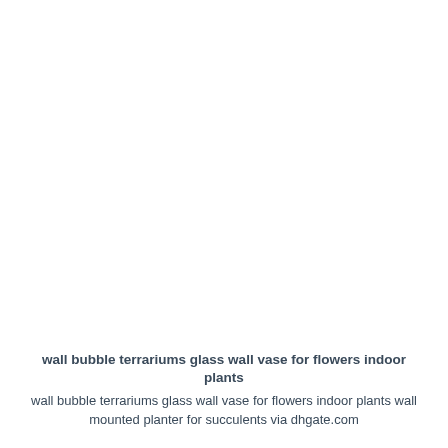wall bubble terrariums glass wall vase for flowers indoor plants
wall bubble terrariums glass wall vase for flowers indoor plants wall mounted planter for succulents via dhgate.com